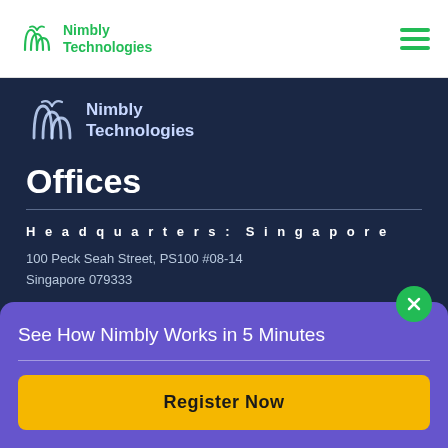Nimbly Technologies — navigation header with logo and hamburger menu
[Figure (logo): Nimbly Technologies logo (white/light version) on dark navy background]
Offices
Headquarters: Singapore
100 Peck Seah Street, PS100 #08-14
Singapore 079333
marketing@hellonimbly.com
See How Nimbly Works in 5 Minutes
Register Now